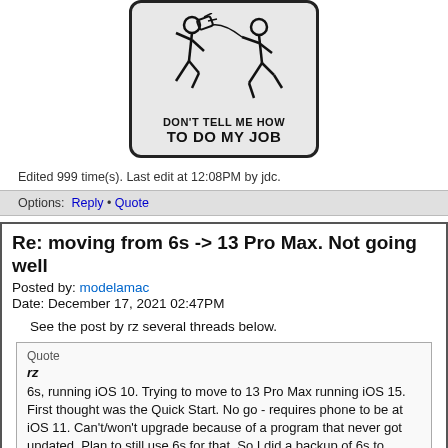[Figure (illustration): A humorous warning sign with stick figures - one person throwing an object at another person running away. Text on sign reads DON'T TELL ME HOW TO DO MY JOB]
Edited 999 time(s). Last edit at 12:08PM by jdc.
Options: Reply • Quote
Re: moving from 6s -> 13 Pro Max. Not going well
Posted by: modelamac
Date: December 17, 2021 02:47PM
See the post by rz several threads below.
Quote
rz
6s, running iOS 10. Trying to move to 13 Pro Max running iOS 15. First thought was the Quick Start. No go - requires phone to be at iOS 11. Can't/won't upgrade because of a program that never got updated. Plan to still use 6s for that. So I did a backup of 6s to iTunes, which ran fine. Took maybe 30 minutes. Tried to restore that backup to 13 Pro Max. It told me I needed to download some software on my Mac first. It did that, then started. After a while, it said 7 minutes remaining. Then 8. Then 9... 10...11....12...etc. Left it overnight. When I woke up, it said over 5 hours remaining.